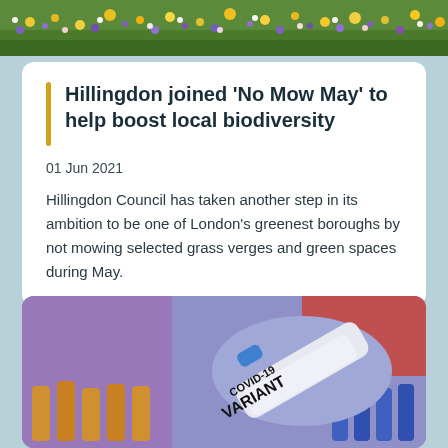[Figure (photo): Top strip of a wildflower meadow with colorful flowers - yellows, purples, greens]
Hillingdon joined 'No Mow May' to help boost local biodiversity
01 Jun 2021
Hillingdon Council has taken another step in its ambition to be one of London's greenest boroughs by not mowing selected grass verges and green spaces during May.
[Figure (photo): Gloved hands holding a COVID-19 VARIANT labeled test tube vial, with lab equipment in background]